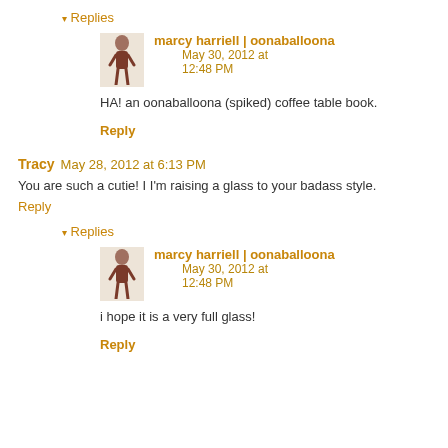▾ Replies
marcy harriell | oonaballoona  May 30, 2012 at 12:48 PM
HA! an oonaballoona (spiked) coffee table book.
Reply
Tracy  May 28, 2012 at 6:13 PM
You are such a cutie! I I'm raising a glass to your badass style.
Reply
▾ Replies
marcy harriell | oonaballoona  May 30, 2012 at 12:48 PM
i hope it is a very full glass!
Reply